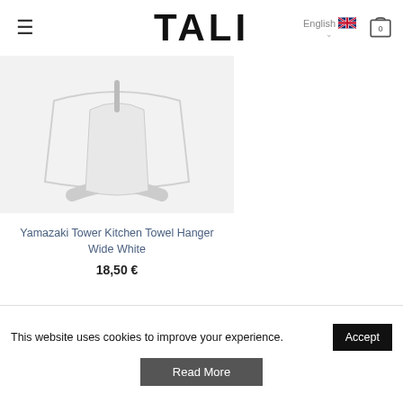TALI — English, cart 0
[Figure (photo): Yamazaki Tower Kitchen Towel Hanger Wide White product image on light gray background]
Yamazaki Tower Kitchen Towel Hanger Wide White
18,50 €
ABOUT US
TALI is the largest design shop in Estonia, located in a hip Kalamaja
This website uses cookies to improve your experience.
Accept
Read More